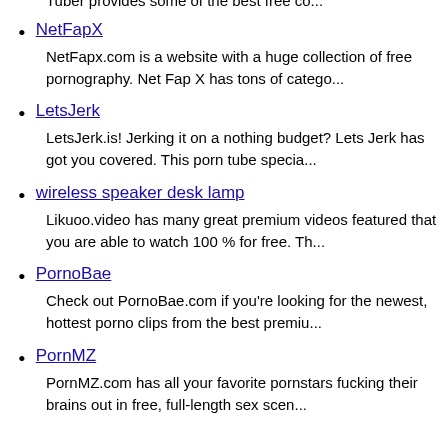Tuber provides some of the best free co...
NetFapX
NetFapx.com is a website with a huge collection of free pornography. Net Fap X has tons of catego...
LetsJerk
LetsJerk.is! Jerking it on a nothing budget? Lets Jerk has got you covered. This porn tube specia...
wireless speaker desk lamp
Likuoo.video has many great premium videos featured that you are able to watch 100 % for free. Th...
PornoBae
Check out PornoBae.com if you're looking for the newest, hottest porno clips from the best premiu...
PornMZ
PornMZ.com has all your favorite pornstars fucking their brains out in free, full-length sex scen...